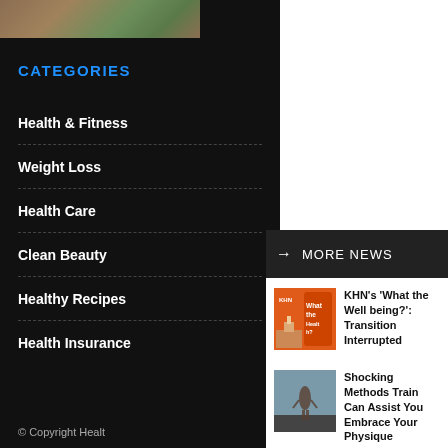[Figure (photo): Partial image strip at top of sidebar]
CATEGORIES
Health & Fitness
Weight Loss
Health Care
Clean Beauty
Healthy Recipes
Health Insurance
© Copyright Healt
MORE NEWS
[Figure (photo): KHN podcast thumbnail with orange background showing Capitol building and 'What the Health?' text]
KHN's 'What the Well being?': Transition Interrupted
[Figure (photo): Person exercising in a gym or large space]
Shocking Methods Train Can Assist You Embrace Your Physique
[Figure (photo): Vegetarian Pad Thai dish in a bowl]
Vegetarian Pad Thai Recipe [20 Minute Meal]